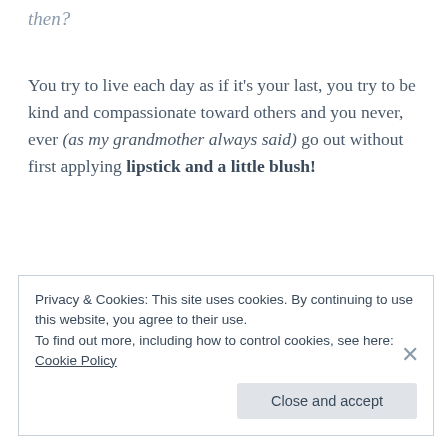then?
You try to live each day as if it's your last, you try to be kind and compassionate toward others and you never, ever (as my grandmother always said) go out without first applying lipstick and a little blush!
FYI... my Mom is the dark-haired beauty in the back row, second from the left!
Privacy & Cookies: This site uses cookies. By continuing to use this website, you agree to their use.
To find out more, including how to control cookies, see here: Cookie Policy